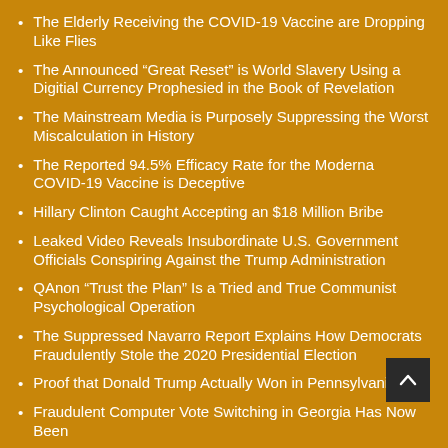The Elderly Receiving the COVID-19 Vaccine are Dropping Like Flies
The Announced “Great Reset” is World Slavery Using a Digitial Currency Prophesied in the Book of Revelation
The Mainstream Media is Purposely Suppressing the Worst Miscalculation in History
The Reported 94.5% Efficacy Rate for the Moderna COVID-19 Vaccine is Deceptive
Hillary Clinton Caught Accepting an $18 Million Bribe
Leaked Video Reveals Insubordinate U.S. Government Officials Conspiring Against the Trump Administration
QAnon “Trust the Plan” Is a Tried and True Communist Psychological Operation
The Suppressed Navarro Report Explains How Democrats Fraudulently Stole the 2020 Presidential Election
Proof that Donald Trump Actually Won in Pennsylvania
Fraudulent Computer Vote Switching in Georgia Has Now Been...